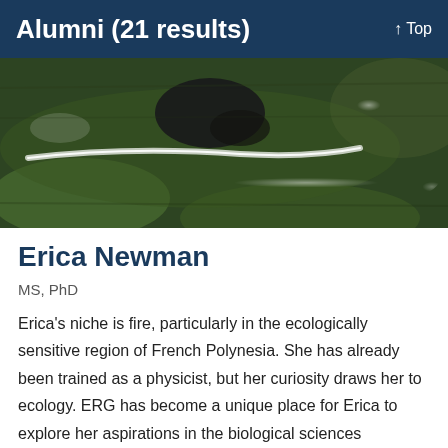Alumni (21 results)  ↑ Top
[Figure (photo): Outdoor nature/water photo showing a rocky stream or water body with green algae and white foam or light reflections on the water surface, with a dark rock visible.]
Erica Newman
MS, PhD
Erica's niche is fire, particularly in the ecologically sensitive region of French Polynesia. She has already been trained as a physicist, but her curiosity draws her to ecology. ERG has become a unique place for Erica to explore her aspirations in the biological sciences alongside those who have successfully trekked through